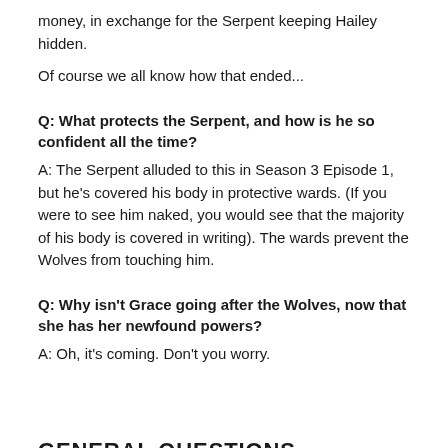money, in exchange for the Serpent keeping Hailey hidden.
Of course we all know how that ended...
Q: What protects the Serpent, and how is he so confident all the time?
A: The Serpent alluded to this in Season 3 Episode 1, but he's covered his body in protective wards. (If you were to see him naked, you would see that the majority of his body is covered in writing). The wards prevent the Wolves from touching him.
Q: Why isn't Grace going after the Wolves, now that she has her newfound powers?
A: Oh, it's coming. Don't you worry.
GENERAL QUESTIONS